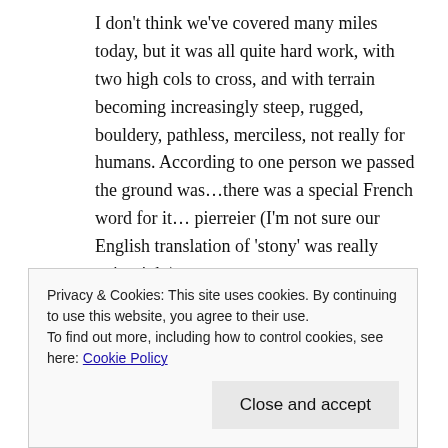I don't think we've covered many miles today, but it was all quite hard work, with two high cols to cross, and with terrain becoming increasingly steep, rugged, bouldery, pathless, merciless, not really for humans. According to one person we passed the ground was…there was a special French word for it… pierreier (I'm not sure our English translation of 'stony' was really quite right).
But this is about the most spectacular scenery we've ever walked in (I'm not sure that 'walk' is
Privacy & Cookies: This site uses cookies. By continuing to use this website, you agree to their use.
To find out more, including how to control cookies, see here: Cookie Policy
[Close and accept button]
marmots. We didn't see any wolves- they are